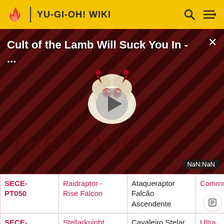YU-GI-OH! WIKI
[Figure (screenshot): Video overlay with title 'Cult of the Lamb Will Suck You In - ...' on a diagonal striped dark red background with a cartoon lamb character and a play button. Shows 'THE LOOP' text and 'NaN:NaN' timestamp badge.]
| Code | English Name | Portuguese Name | Rarity |  |
| --- | --- | --- | --- | --- |
| SECE-PT050 | Raidraptor - Rise Falcon | Ataqueraptor Falcão Ascendente | Common |  |
| SECE-PT051 | Stellarknight Constellar Diamond | Cavaleiro Stelar Constelar Diamante | Ultra Rare Ultimate Rare |  |